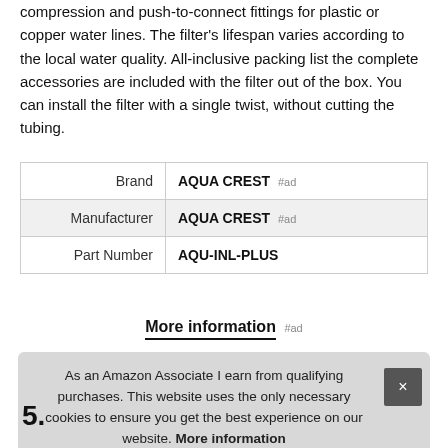compression and push-to-connect fittings for plastic or copper water lines. The filter's lifespan varies according to the local water quality. All-inclusive packing list the complete accessories are included with the filter out of the box. You can install the filter with a single twist, without cutting the tubing.
|  |  |
| --- | --- |
| Brand | AQUA CREST #ad |
| Manufacturer | AQUA CREST #ad |
| Part Number | AQU-INL-PLUS |
More information #ad
As an Amazon Associate I earn from qualifying purchases. This website uses the only necessary cookies to ensure you get the best experience on our website. More information